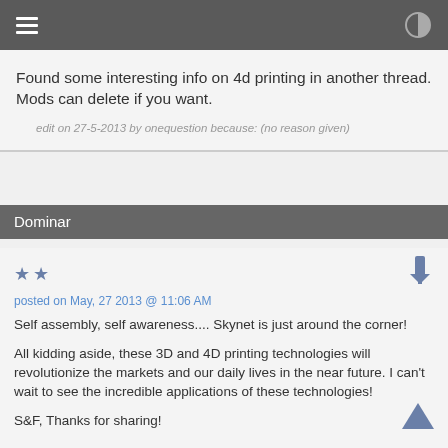Found some interesting info on 4d printing in another thread. Mods can delete if you want.
edit on 27-5-2013 by onequestion because: (no reason given)
Dominar
posted on May, 27 2013 @ 11:06 AM
Self assembly, self awareness.... Skynet is just around the corner!

All kidding aside, these 3D and 4D printing technologies will revolutionize the markets and our daily lives in the near future. I can't wait to see the incredible applications of these technologies!

S&F, Thanks for sharing!